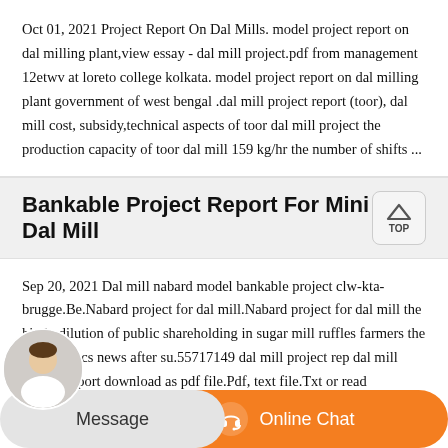Oct 01, 2021 Project Report On Dal Mills. model project report on dal milling plant,view essay - dal mill project.pdf from management 12etwv at loreto college kolkata. model project report on dal milling plant government of west bengal .dal mill project report (toor), dal mill cost, subsidy,technical aspects of toor dal mill project the production capacity of toor dal mill 159 kg/hr the number of shifts ...
Bankable Project Report For Mini Dal Mill
Sep 20, 2021 Dal mill nabard model bankable project clw-kta-brugge.Be.Nabard project for dal mill.Nabard project for dal mill the hindu dilution of public shareholding in sugar mill ruffles farmers the hindu topics news after su.55717149 dal mill project rep dal mill project report download as pdf file.Pdf, text file.Txt or read
[Figure (other): Bottom bar with Message button on left (light grey pill) and Online Chat button on right (orange pill with headset icon), plus customer service avatar in bottom-left corner]